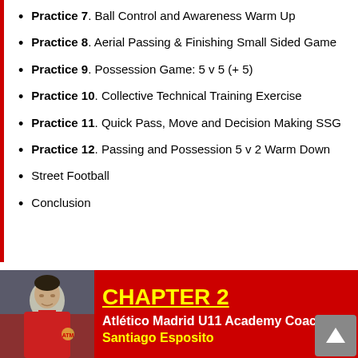Practice 7. Ball Control and Awareness Warm Up
Practice 8. Aerial Passing & Finishing Small Sided Game
Practice 9. Possession Game: 5 v 5 (+ 5)
Practice 10. Collective Technical Training Exercise
Practice 11. Quick Pass, Move and Decision Making SSG
Practice 12. Passing and Possession 5 v 2 Warm Down
Street Football
Conclusion
CHAPTER 2
Atlético Madrid U11 Academy Coach
Santiago Esposito
[Figure (photo): Photo of Santiago Esposito, a man in a red jacket]
Santiago Esposito focuses on technical training for 8-12 year olds which beat, 1 v 1 duels, passing, team play; crossing and shooting